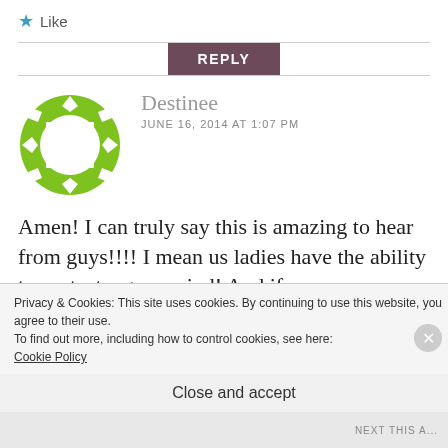★ Like
REPLY
[Figure (illustration): Green decorative circular avatar/icon with white diamond shapes and a white square in the center]
Destinee
JUNE 16, 2014 AT 1:07 PM
Amen! I can truly say this is amazing to hear from guys!!!! I mean us ladies have the ability to protect a guys mind! And if we are a Christian we
Privacy & Cookies: This site uses cookies. By continuing to use this website, you agree to their use.
To find out more, including how to control cookies, see here:
Cookie Policy
Close and accept